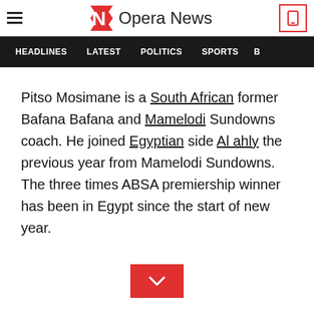Opera News
HEADLINES  LATEST  POLITICS  SPORTS
Pitso Mosimane is a South African former Bafana Bafana and Mamelodi Sundowns coach. He joined Egyptian side Al ahly the previous year from Mamelodi Sundowns. The three times ABSA premiership winner has been in Egypt since the start of new year.